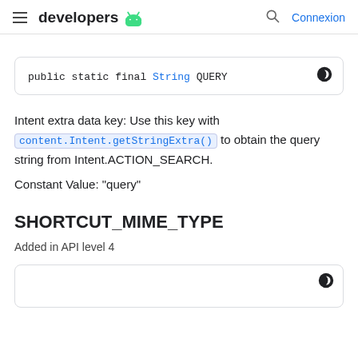developers | Connexion
public static final String QUERY
Intent extra data key: Use this key with content.Intent.getStringExtra() to obtain the query string from Intent.ACTION_SEARCH.
Constant Value: "query"
SHORTCUT_MIME_TYPE
Added in API level 4